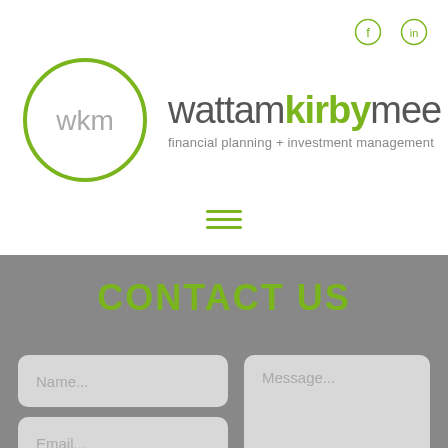[Figure (logo): WKM wattamkiRBYmee logo with green circle and text: financial planning + investment management]
[Figure (other): Hamburger menu icon (three green horizontal lines)]
CONTACT US
Name...
Email...
Subject...
Message...